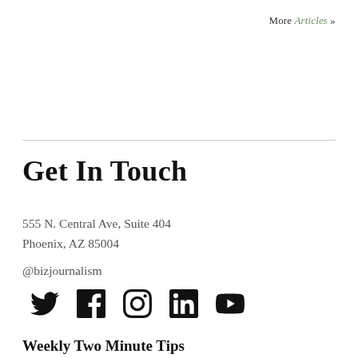More Articles »
Get In Touch
555 N. Central Ave, Suite 404
Phoenix, AZ 85004
@bizjournalism
[Figure (infographic): Social media icons: Twitter, Facebook, Instagram, LinkedIn, YouTube]
Weekly Two Minute Tips